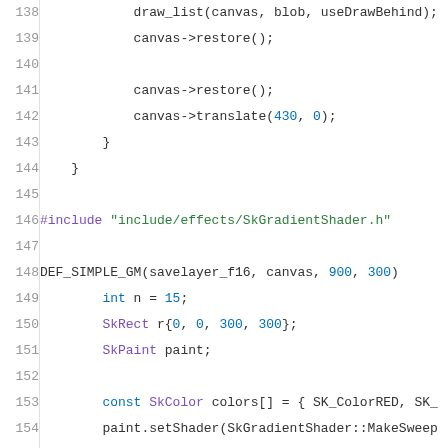[Figure (screenshot): Source code listing showing C++ code lines 138-159, with syntax highlighting. Code includes canvas draw calls, an include directive for SkGradientShader.h, and DEF_SIMPLE_GM function definition with SkColor, SkRect, SkPaint declarations and canvas draw operations.]